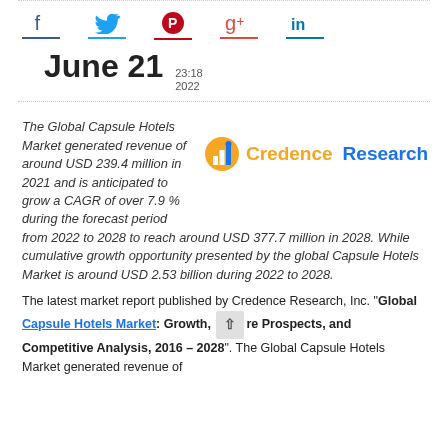[Figure (infographic): Social media sharing icons: Facebook, Twitter, Pinterest, Google+, LinkedIn with colored underlines]
June 21  23:18  2022
The Global Capsule Hotels Market generated revenue of around USD 239.4 million in 2021 and is anticipated to grow a CAGR of over 7.9 % during the forecast period from 2022 to 2028 to reach around USD 377.7 million in 2028. While cumulative growth opportunity presented by the global Capsule Hotels Market is around USD 2.53 billion during 2022 to 2028.
[Figure (logo): Credence Research logo with orange and blue chart icon]
The latest market report published by Credence Research, Inc. "Global Capsule Hotels Market: Growth, Share Prospects, and Competitive Analysis, 2016 – 2028". The Global Capsule Hotels Market generated revenue of